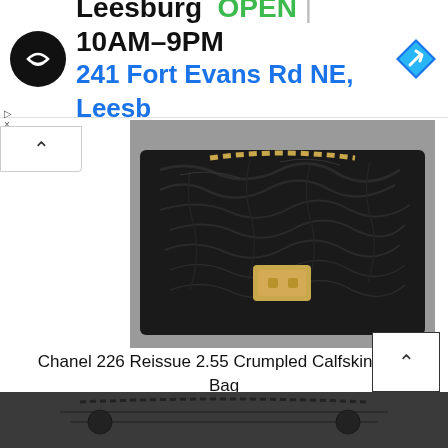[Figure (screenshot): Advertisement banner for Leesburg store showing logo, OPEN status, hours 10AM-9PM, address 241 Fort Evans Rd NE, Leesb, and navigation arrow icon]
[Figure (photo): Chanel 226 Reissue 2.55 Crumpled Calfskin Flap Bag in black with gold chain and gold turn-lock clasp]
Chanel 226 Reissue 2.55 Crumpled Calfskin Flap Bag
Style code: A37587
Size: 7.5' x 11' x 2.4' inches
Price: $5900 USD, €4990 euro, £4450 GBP, $8280 SGD, $42900 HKD, $7580 AUD, ¥691200 JPY, 26500 MYR
[Figure (photo): Partial view of another Chanel bag at the bottom of the page in dark color with chain strap]